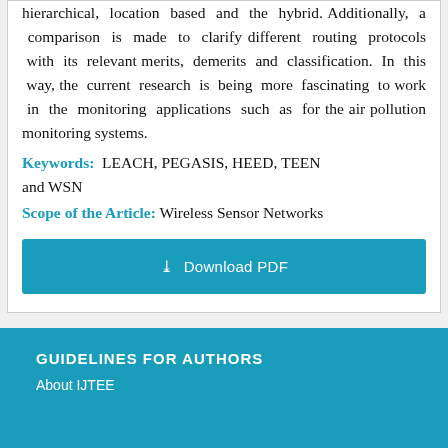hierarchical, location based and the hybrid. Additionally, a comparison is made to clarify different routing protocols with its relevant merits, demerits and classification. In this way, the current research is being more fascinating to work in the monitoring applications such as for the air pollution monitoring systems.
Keywords: LEACH, PEGASIS, HEED, TEEN and WSN
Scope of the Article: Wireless Sensor Networks
[Figure (other): Download PDF button — a teal/blue rectangular button with download icon and text 'Download PDF']
GUIDELINES FOR AUTHORS
About IJTEE